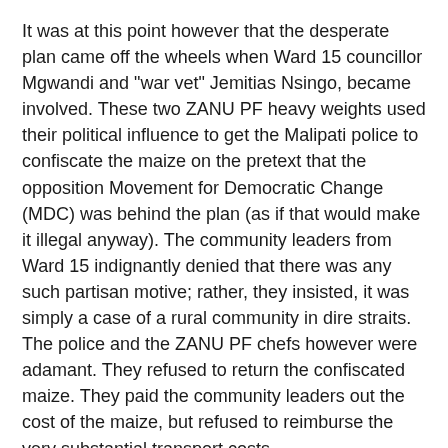It was at this point however that the desperate plan came off the wheels when Ward 15 councillor Mgwandi and "war vet" Jemitias Nsingo, became involved. These two ZANU PF heavy weights used their political influence to get the Malipati police to confiscate the maize on the pretext that the opposition Movement for Democratic Change (MDC) was behind the plan (as if that would make it illegal anyway). The community leaders from Ward 15 indignantly denied that there was any such partisan motive; rather, they insisted, it was simply a case of a rural community in dire straits. The police and the ZANU PF chefs however were adamant. They refused to return the confiscated maize. They paid the community leaders out the cost of the maize, but refused to reimburse the very substantial transport costs.
The sequel to the story is that, with the active collusion of the police from Malapti, councillor Mgwandi and "war vet"